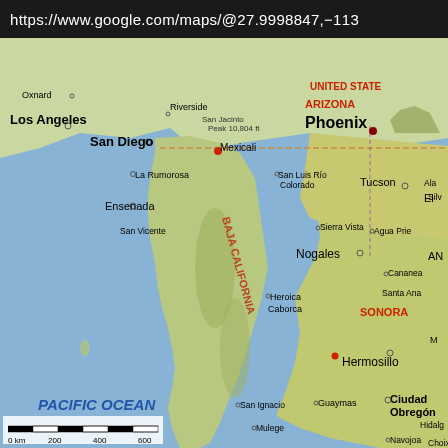https://www.google.com/maps/@27.9998847,-113
[Figure (map): Google Maps screenshot showing Baja California peninsula, northwestern Mexico, and southwestern US states (California, Arizona). Visible cities include Los Angeles, San Diego, Phoenix, Tucson, Mexicali, Ensenada, Hermosillo, Nogales, Ciudad Obregon, Guaymas, San Ignacio, Mulege, Loreto, La Paz, Ciudad Constitucion, Los Mochis, Culiacan. The Pacific Ocean is labeled on the left. The Gulf of California (Sea of Cortez) is visible between Baja California and mainland Mexico. A scale bar at the bottom shows 0-600 km.]